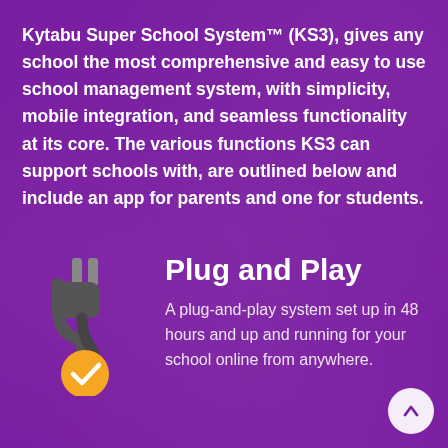Kytabu Super School System™ (KS3), gives any school the most comprehensive and easy to use school management system, with simplicity, mobile integration, and seamless functionality at its core. The various functions KS3 can support schools with, are outlined below and include an app for parents and one for students.
[Figure (illustration): Electric plug icon with yellow circular base containing a white checkmark]
Plug and Play
A plug-and-play system set up in 48 hours and up and running for your school online from anywhere.